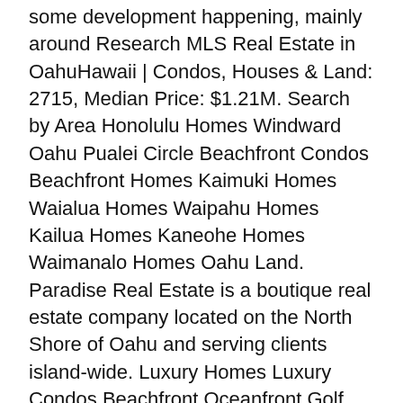some development happening, mainly around Research MLS Real Estate in OahuHawaii | Condos, Houses & Land: 2715, Median Price: $1.21M. Search by Area Honolulu Homes Windward Oahu Pualei Circle Beachfront Condos Beachfront Homes Kaimuki Homes Waialua Homes Waipahu Homes Kailua Homes Kaneohe Homes Waimanalo Homes Oahu Land. Paradise Real Estate is a boutique real estate company located on the North Shore of Oahu and serving clients island-wide. Luxury Homes Luxury Condos Beachfront Oceanfront Golf View Beach View Pool Recently Built. See photos and more. eXp Realty. 170628 Photos. That square footage for a property here is around 10,000 sq ft on average, but you'll find numerous lots that run from 5,000 to 15,000 sq ft. Oahu beachfront homes for sale, including Kailua beach houses, Honolulu beach houses